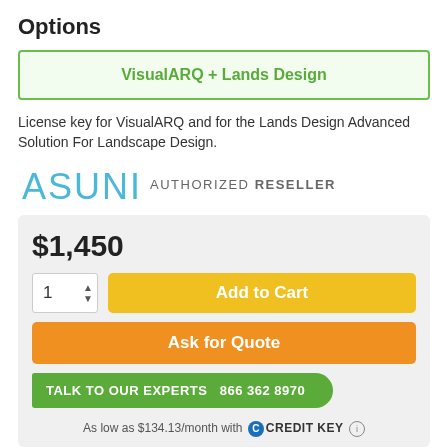Options
VisualARQ + Lands Design
License key for VisualARQ and for the Lands Design Advanced Solution For Landscape Design.
[Figure (logo): ASUNI logo and AUTHORIZED RESELLER text]
$1,450
Add to Cart
Ask for Quote
TALK TO OUR EXPERTS   866 362 8970
As low as $134.13/month with CREDIT KEY